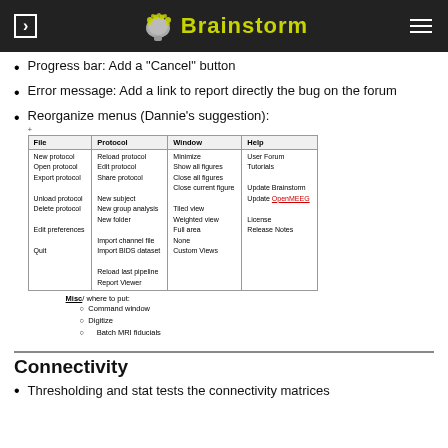Brainstorm
Progress bar: Add a "Cancel" button
Error message: Add a link to report directly the bug on the forum
Reorganize menus (Dannie's suggestion):
| File | Protocol | Window | Help |
| --- | --- | --- | --- |
| New protocol
Open protocol
Export protocol | Reload protocol
Edit protocol
Share protocol | Minimize
Show all figures
Close all figures
Close current figure | User Forum
Tutorials |
| Unload protocol
Delete protocol | New subject
New group analysis
New folder | Tiled view
Weighted view
Full area
None
Custom Views | Update Brainstorm
Update OpenMEEG |
| Edit preferences | Import channel file
Import BIDS dataset |  | License
Release Notes |
| Quit | Reload last pipeline
Report Viewer |  |  |
Misc/ where to put: Command window, Digitize, Batch MRI fiducials
Connectivity
Thresholding and stat tests the connectivity matrices